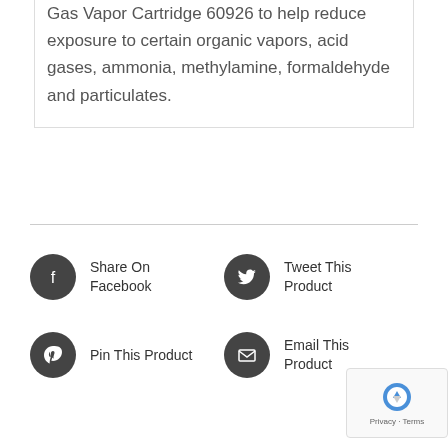Gas Vapor Cartridge 60926 to help reduce exposure to certain organic vapors, acid gases, ammonia, methylamine, formaldehyde and particulates.
Share On Facebook
Tweet This Product
Pin This Product
Email This Product